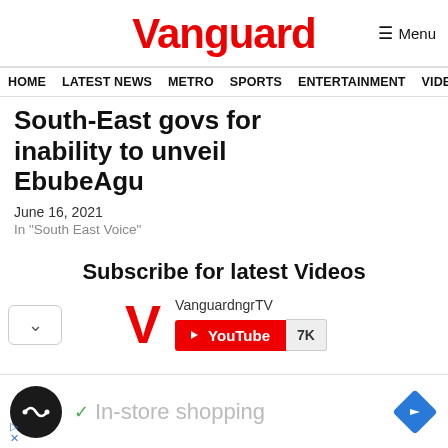Vanguard
HOME  LATEST NEWS  METRO  SPORTS  ENTERTAINMENT  VIDEOS
South-East govs for inability to unveil EbubeAgu
June 16, 2021
In "South East Voice"
Subscribe for latest Videos
[Figure (logo): Vanguard V logo in red with VanguardngrTV YouTube subscribe button showing 7K subscribers]
[Figure (infographic): Advertisement bar with black circle icon, checkmark, In-store shopping text, and blue navigation diamond icon]